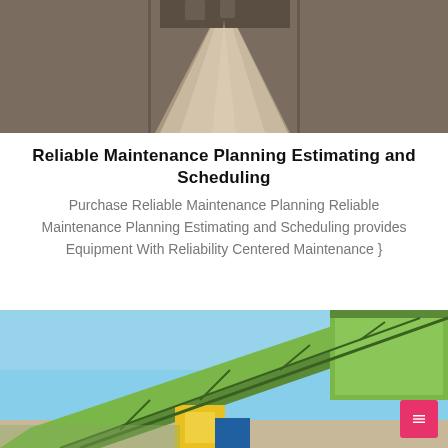[Figure (photo): Aerial view of a gravel/aggregate processing yard with industrial mining equipment in the background]
Reliable Maintenance Planning Estimating and Scheduling
Purchase Reliable Maintenance Planning Reliable Maintenance Planning Estimating and Scheduling provides Equipment With Reliability Centered Maintenance }
[Figure (photo): Industrial conveyor belt system with green structural framework at a mining or aggregate processing facility, blue sky in background]